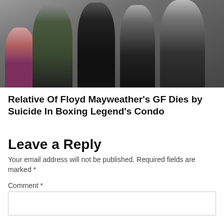[Figure (photo): Group photo of several people posing together in a gym setting. A woman sits on the left, and four men stand together.]
Relative Of Floyd Mayweather’s GF Dies by Suicide In Boxing Legend’s Condo
Leave a Reply
Your email address will not be published. Required fields are marked *
Comment *